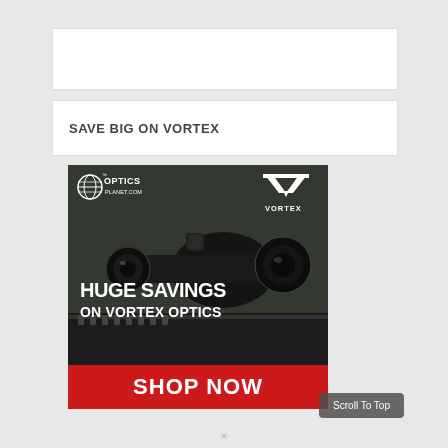[Figure (other): White header bar placeholder]
SAVE BIG ON VORTEX
[Figure (infographic): OpticsPlanet.com advertisement for Vortex Optics. Shows a Vortex rifle scope on a firearm. Text reads: HUGE SAVINGS ON VORTEX OPTICS with a red banner reading SHOP NOW. Logos for OpticsPlanet.com and Vortex visible.]
Scroll To Top